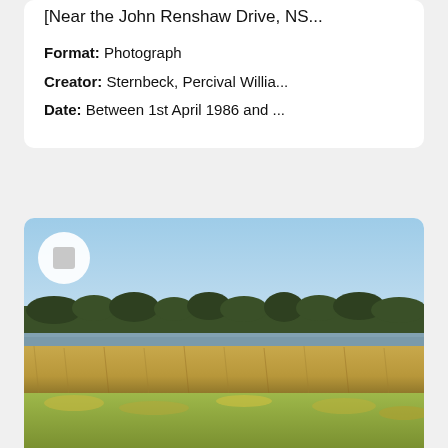[Near the John Renshaw Drive, NS...
Format: Photograph
Creator: Sternbeck, Percival Willia...
Date: Between 1st April 1986 and ...
[Figure (photo): Landscape photograph showing open grassland/wetland in the foreground with golden-brown grasses, a water body in the middle distance, and a dense line of trees on the horizon under a clear blue sky.]
[Near the John Renshaw Drive, NS...